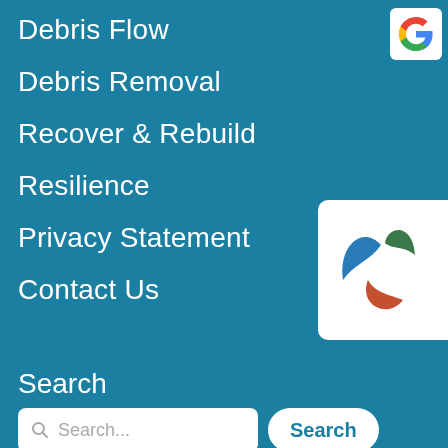Debris Flow
Debris Removal
Recover & Rebuild
Resilience
Privacy Statement
Contact Us
[Figure (logo): Google 'G' logo in white rounded square, top-right corner]
[Figure (logo): Leaf/plant logo with blue, green and red-orange petals in white rounded rectangle, right side]
Search
Search...
Search